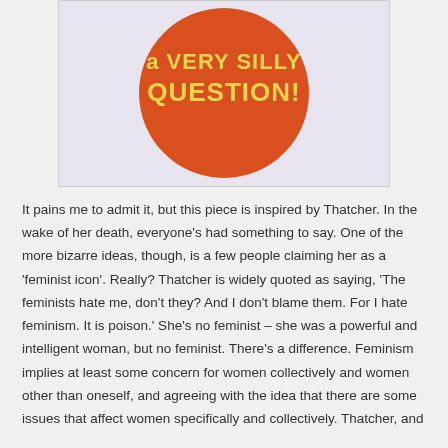[Figure (photo): A round orange/red button badge with yellow text reading 'a VERY SILLY QUESTION!' on a light lavender background]
It pains me to admit it, but this piece is inspired by Thatcher. In the wake of her death, everyone's had something to say. One of the more bizarre ideas, though, is a few people claiming her as a ‘feminist icon’. Really? Thatcher is widely quoted as saying, ‘The feminists hate me, don’t they? And I don’t blame them. For I hate feminism. It is poison.’ She’s no feminist – she was a powerful and intelligent woman, but no feminist. There’s a difference. Feminism implies at least some concern for women collectively and women other than oneself, and agreeing with the idea that there are some issues that affect women specifically and collectively. Thatcher, and